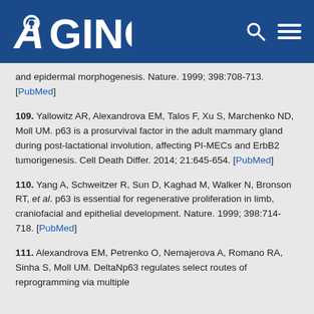AGING
and epidermal morphogenesis. Nature. 1999; 398:708-713. [PubMed]
109. Yallowitz AR, Alexandrova EM, Talos F, Xu S, Marchenko ND, Moll UM. p63 is a prosurvival factor in the adult mammary gland during post-lactational involution, affecting PI-MECs and ErbB2 tumorigenesis. Cell Death Differ. 2014; 21:645-654. [PubMed]
110. Yang A, Schweitzer R, Sun D, Kaghad M, Walker N, Bronson RT, et al. p63 is essential for regenerative proliferation in limb, craniofacial and epithelial development. Nature. 1999; 398:714-718. [PubMed]
111. Alexandrova EM, Petrenko O, Nemajerova A, Romano RA, Sinha S, Moll UM. DeltaNp63 regulates select routes of reprogramming via multiple